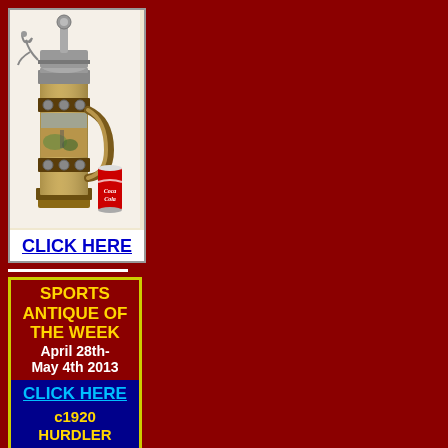[Figure (photo): A tall German beer stein with pewter lid and decorative relief scenes, shown next to a Coca-Cola can for size reference. The stein has a long cylindrical form with a rounded lid topped by a finial, and a side-mounted dragon/eagle figure. The body has decorative bands and scenic imagery. A red Coca-Cola can is placed to the right for scale.]
CLICK HERE
SPORTS ANTIQUE OF THE WEEK April 28th- May 4th 2013
CLICK HERE
c1920 HURDLER STATUE